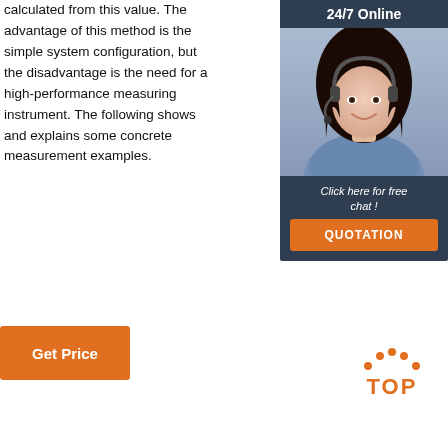calculated from this value. The advantage of this method is the simple system configuration, but the disadvantage is the need for a high-performance measuring instrument. The following shows and explains some concrete measurement examples.
[Figure (infographic): 24/7 Online support widget with a photo of a woman wearing a headset, a 'Click here for free chat!' message, and an orange QUOTATION button]
[Figure (infographic): Orange and white TOP icon with dotted arc above the letters TOP in orange]
[Figure (other): Orange 'Get Price' button]